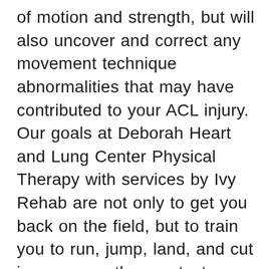of motion and strength, but will also uncover and correct any movement technique abnormalities that may have contributed to your ACL injury. Our goals at Deborah Heart and Lung Center Physical Therapy with services by Ivy Rehab are not only to get you back on the field, but to train you to run, jump, land, and cut in a manner than protects your knees and minimizes risk of a second ACL injury. These second ACL injuries occur in as many as 30% of young athletes who return to sports after undergoing ACL surgery. Our ACL Return-to-Sport Program is part of a comprehensive ACL rehabilitation approach that takes the recovering athlete through a series of targeted and progressive tests to assess and train for correct movement